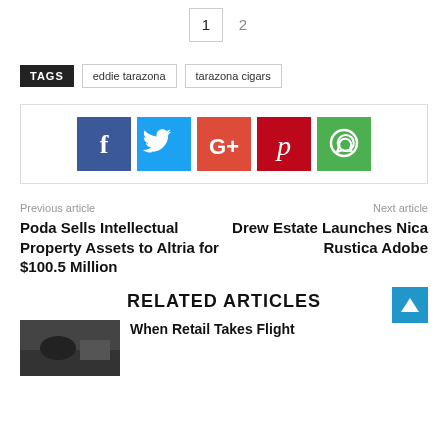1  2
TAGS  eddie tarazona  tarazona cigars
[Figure (infographic): Social share buttons: Facebook (blue), Twitter (light blue), Google+ (orange-red), Pinterest (dark red), WhatsApp (green)]
Previous article
Next article
Poda Sells Intellectual Property Assets to Altria for $100.5 Million
Drew Estate Launches Nica Rustica Adobe
RELATED ARTICLES
When Retail Takes Flight